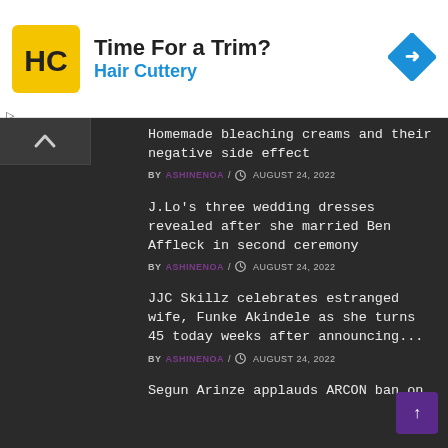[Figure (logo): Hair Cuttery advertisement banner with HC logo, headline 'Time For a Trim?' and 'Hair Cuttery' subheading, and navigation diamond icon]
Homemade bleaching creams and their negative side effect
BY ASHINENOA / AUGUST 24, 2022
J.Lo's three wedding dresses revealed after she married Ben Affleck in second ceremony
BY ASHINENOA / AUGUST 24, 2022
JJC Skillz celebrates estranged wife, Funke Akindele as she turns 45 today weeks after announcing...
BY ASHINENOA / AUGUST 24, 2022
Segun Arinze applauds ARCON ban on